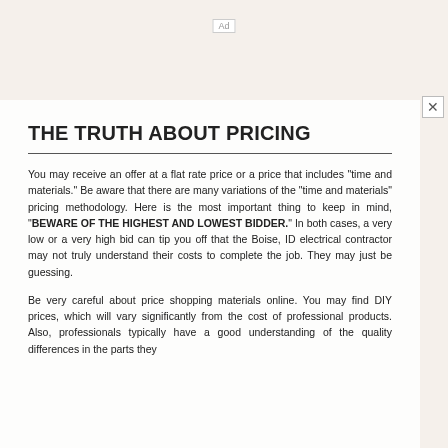Ad
THE TRUTH ABOUT PRICING
You may receive an offer at a flat rate price or a price that includes "time and materials." Be aware that there are many variations of the "time and materials" pricing methodology. Here is the most important thing to keep in mind, "BEWARE OF THE HIGHEST AND LOWEST BIDDER." In both cases, a very low or a very high bid can tip you off that the Boise, ID electrical contractor may not truly understand their costs to complete the job. They may just be guessing.
Be very careful about price shopping materials online. You may find DIY prices, which will vary significantly from the cost of professional products. Also, professionals typically have a good understanding of the quality differences in the parts they